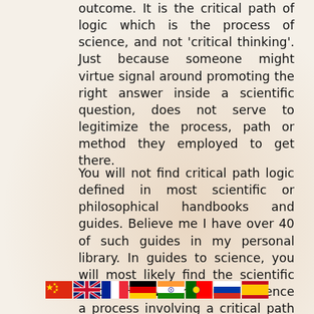outcome. It is the critical path of logic which is the process of science, and not 'critical thinking'. Just because someone might virtue signal around promoting the right answer inside a scientific question, does not serve to legitimize the process, path or method they employed to get there.
You will not find critical path logic defined in most scientific or philosophical handbooks and guides. Believe me I have over 40 of such guides in my personal library. In guides to science, you will most likely find the scientific method1† – which is in its essence a process involving a critical path discipline; incomplete though it may be in constituting actual science. In books of philosophy, sadly, rather than finding tenets on logical calculus and the development of
[Figure (other): Row of six national flag icons (China, UK, France, Germany, India, Portugal, Russia, Spain) shown at bottom center of page as a language selector bar.]